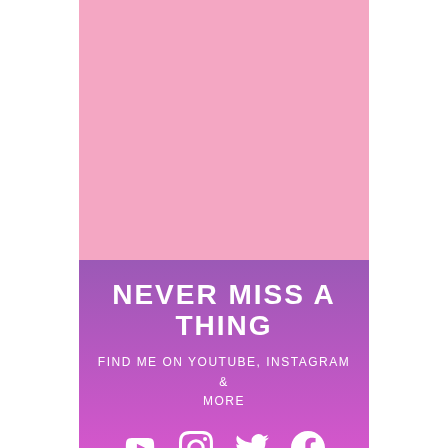[Figure (illustration): Pink solid color block occupying the top portion of the card]
NEVER MISS A THING
FIND ME ON YOUTUBE, INSTAGRAM & MORE
[Figure (illustration): Social media icons row: YouTube, Instagram, Twitter, Facebook — white icons on purple gradient background]